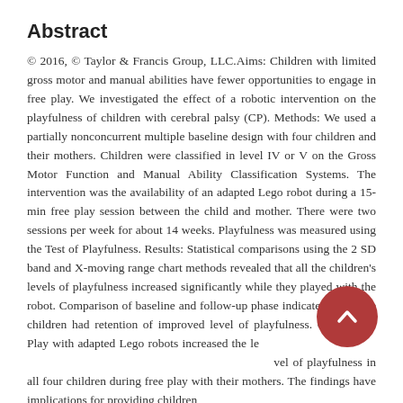Abstract
© 2016, © Taylor & Francis Group, LLC.Aims: Children with limited gross motor and manual abilities have fewer opportunities to engage in free play. We investigated the effect of a robotic intervention on the playfulness of children with cerebral palsy (CP). Methods: We used a partially nonconcurrent multiple baseline design with four children and their mothers. Children were classified in level IV or V on the Gross Motor Function and Manual Ability Classification Systems. The intervention was the availability of an adapted Lego robot during a 15-min free play session between the child and mother. There were two sessions per week for about 14 weeks. Playfulness was measured using the Test of Playfulness. Results: Statistical comparisons using the 2 SD band and X-moving range chart methods revealed that all the children's levels of playfulness increased significantly while they played with the robot. Comparison of baseline and follow-up phase indicated that three children had retention of improved level of playfulness. Conclusion: Play with adapted Lego robots increased the level of playfulness in all four children during free play with their mothers. The findings have implications for providing children